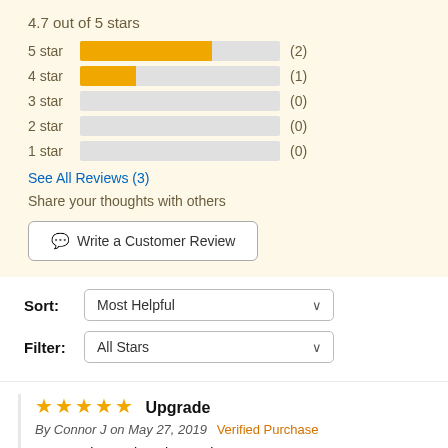4.7 out of 5 stars
[Figure (bar-chart): Star rating distribution]
See All Reviews (3)
Share your thoughts with others
Write a Customer Review
Sort: Most Helpful
Filter: All Stars
★★★★★ Upgrade
By Connor J on May 27, 2019  Verified Purchase
It's WAY better than the stock one.